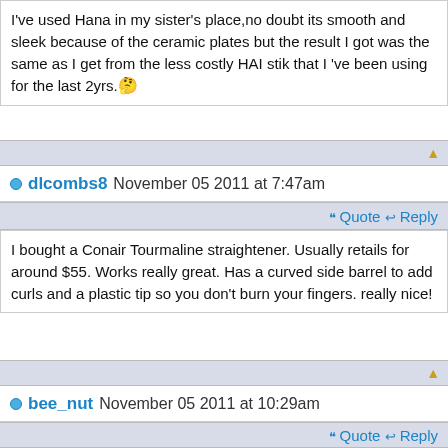I've used Hana in my sister's place,no doubt its smooth and sleek because of the ceramic plates but the result I got was the same as I get from the less costly HAI stik that I 've been using for the last 2yrs.
dlcombs8 November 05 2011 at 7:47am
I bought a Conair Tourmaline straightener. Usually retails for around $55. Works really great. Has a curved side barrel to add curls and a plastic tip so you don't burn your fingers. really nice!
bee_nut November 05 2011 at 10:29am
You can get the Karmin at http://www.hairshearspro.com for $10 off with coupon code CELEBRATE10